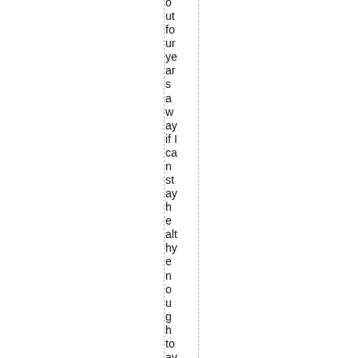out four years away if I can stay healthy enough to averag